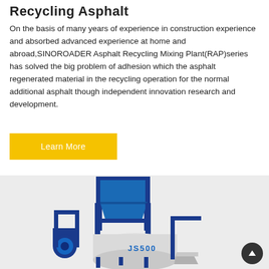Recycling Asphalt
On the basis of many years of experience in construction experience and absorbed advanced experience at home and abroad,SINOROADER Asphalt Recycling Mixing Plant(RAP)series has solved the big problem of adhesion which the asphalt regenerated material in the recycling operation for the normal additional asphalt though independent innovation research and development.
Learn More
[Figure (photo): Industrial machinery — SINOROADER JS500 asphalt recycling mixing plant, blue metal frame structure with hoppers and a white cylindrical mixing drum labeled JS500, on a light grey background.]